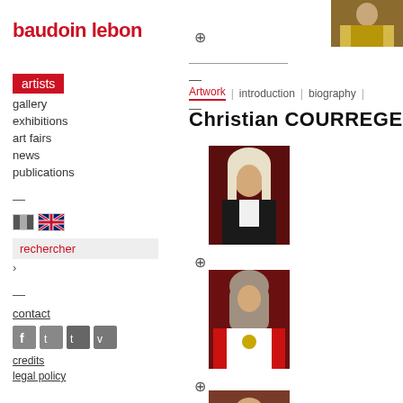baudoin lebon
artists
gallery
exhibitions
art fairs
news
publications
rechercher
contact
credits
legal policy
[Figure (photo): Portrait photo top right — person in ceremonial robes]
Artwork | introduction | biography |
Christian COURREGE
[Figure (photo): Portrait of judge in white wig and black robes against red background]
[Figure (photo): Portrait of judge in ceremonial red and white robes against red background]
[Figure (photo): Partial portrait at bottom, person's face visible]